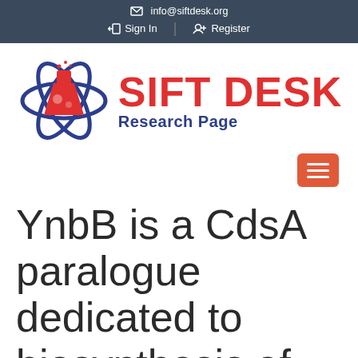info@siftdesk.org | Sign In | Register
[Figure (logo): SIFT DESK Research Page logo with a red flask and blue atomic orbits icon]
YnbB is a CdsA paralogue dedicated to biosynthesis of